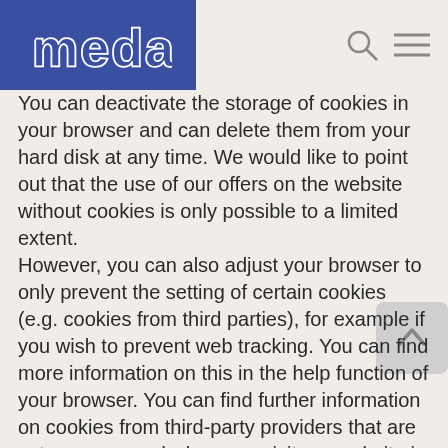medac
You can deactivate the storage of cookies in your browser and can delete them from your hard disk at any time. We would like to point out that the use of our offers on the website without cookies is only possible to a limited extent.
However, you can also adjust your browser to only prevent the setting of certain cookies (e.g. cookies from third parties), for example if you wish to prevent web tracking. You can find more information on this in the help function of your browser. You can find further information on cookies from third-party providers that are set or processed when you visit our website in Section 2.3 in the data protection declarations of the mentioned provider.
Change cookie settings